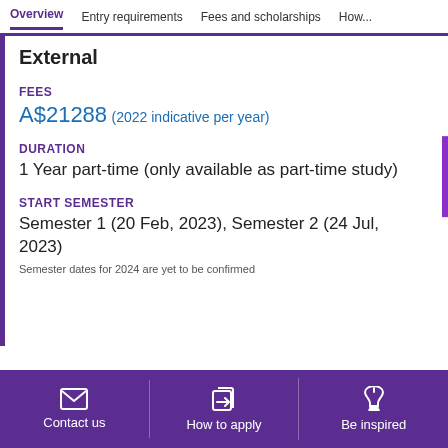Overview | Entry requirements | Fees and scholarships | How...
External
FEES
A$21288 (2022 indicative per year)
DURATION
1 Year part-time (only available as part-time study)
START SEMESTER
Semester 1 (20 Feb, 2023), Semester 2 (24 Jul, 2023)
Semester dates for 2024 are yet to be confirmed
Contact us | How to apply | Be inspired